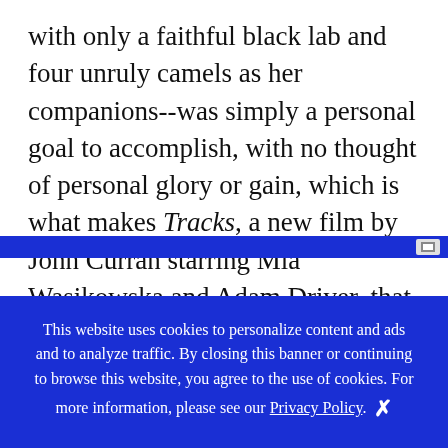with only a faithful black lab and four unruly camels as her companions--was simply a personal goal to accomplish, with no thought of personal glory or gain, which is what makes Tracks, a new film by John Curran starring Mia Wasikowska and Adam Driver, that much more powerful. Tracks is beautifully made and carries an even more beautiful message about courage, strength and self-discovery.
This website uses cookies to personalize content and ads and to analyze traffic. By closing this banner or continuing to browse this website, you agree to the use of cookies. For more information, please see our Privacy Policy.